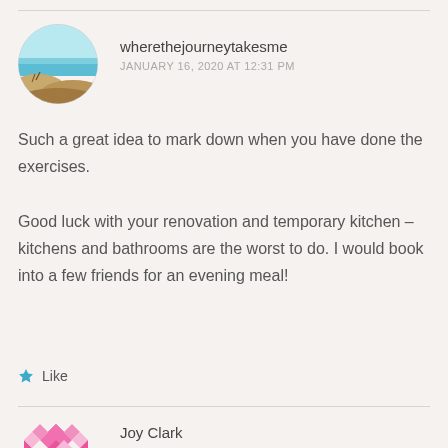[Figure (photo): Circular avatar photo showing a beach scene with sand dunes in foreground and blue ocean/sky in background]
wherethejourneytakesme
JANUARY 16, 2020 AT 12:31 PM
Such a great idea to mark down when you have done the exercises.
Good luck with your renovation and temporary kitchen – kitchens and bathrooms are the worst to do. I would book into a few friends for an evening meal!
★ Like
[Figure (logo): Pink/magenta geometric star/flower pattern logo for Joy Clark]
Joy Clark
JANUARY 17, 2020 AT 11:18 AM